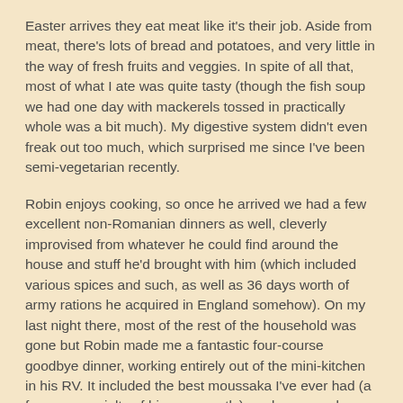Easter arrives they eat meat like it's their job. Aside from meat, there's lots of bread and potatoes, and very little in the way of fresh fruits and veggies. In spite of all that, most of what I ate was quite tasty (though the fish soup we had one day with mackerels tossed in practically whole was a bit much). My digestive system didn't even freak out too much, which surprised me since I've been semi-vegetarian recently.
Robin enjoys cooking, so once he arrived we had a few excellent non-Romanian dinners as well, cleverly improvised from whatever he could find around the house and stuff he'd brought with him (which included various spices and such, as well as 36 days worth of army rations he acquired in England somehow). On my last night there, most of the rest of the household was gone but Robin made me a fantastic four-course goodbye dinner, working entirely out of the mini-kitchen in his RV. It included the best moussaka I've ever had (a famous specialty of his, apparently), and even apple crumble for dessert (he'd heard I'm a fan of apple pie and similar things). Yum.
Hiking